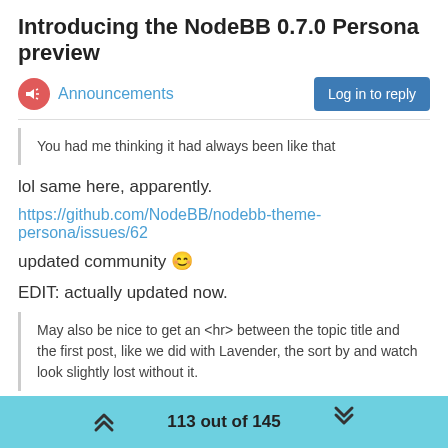Introducing the NodeBB 0.7.0 Persona preview
Announcements
Log in to reply
You had me thinking it had always been like that
lol same here, apparently.
https://github.com/NodeBB/nodebb-theme-persona/issues/62
updated community 😊
EDIT: actually updated now.
May also be nice to get an <hr> between the topic title and the first post, like we did with Lavender, the sort by and watch look slightly lost without it.
I'll play around with this idea 🙂
113 out of 145